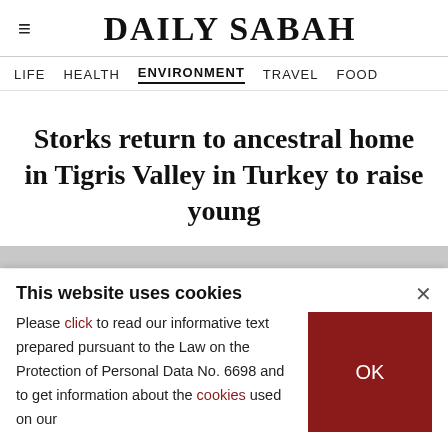DAILY SABAH
LIFE  HEALTH  ENVIRONMENT  TRAVEL  FOOD
Storks return to ancestral home in Tigris Valley in Turkey to raise young
This website uses cookies
Please click to read our informative text prepared pursuant to the Law on the Protection of Personal Data No. 6698 and to get information about the cookies used on our